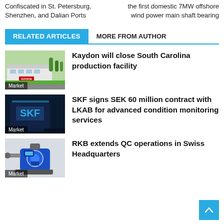Confiscated in St. Petersburg, Shenzhen, and Dalian Ports
the first domestic 7MW offshore wind power main shaft bearing
RELATED ARTICLES   MORE FROM AUTHOR
[Figure (photo): Kaydon building exterior with green trees and lawn, Market label]
Kaydon will close South Carolina production facility
[Figure (photo): SKF building with illuminated logo at night, Market label]
SKF signs SEK 60 million contract with LKAB for advanced condition monitoring services
[Figure (photo): RKB blue industrial machine/equipment, Market label]
RKB extends QC operations in Swiss Headquarters